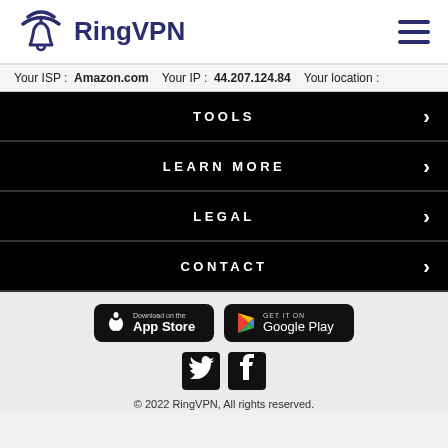RingVPN
Your ISP : Amazon.com   Your IP : 44.207.124.84   Your location :
TOOLS
LEARN MORE
LEGAL
CONTACT
[Figure (logo): Download on the App Store button]
[Figure (logo): Get it on Google Play button]
[Figure (logo): Twitter and Facebook social icons]
© 2022 RingVPN, All rights reserved.